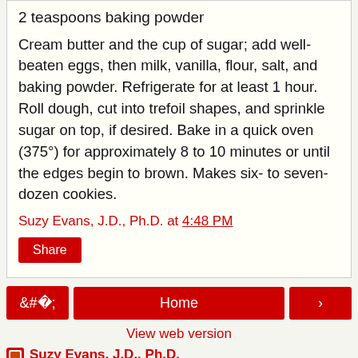2 teaspoons baking powder
Cream butter and the cup of sugar; add well-beaten eggs, then milk, vanilla, flour, salt, and baking powder. Refrigerate for at least 1 hour. Roll dough, cut into trefoil shapes, and sprinkle sugar on top, if desired. Bake in a quick oven (375°) for approximately 8 to 10 minutes or until the edges begin to brown. Makes six- to seven-dozen cookies.
Suzy Evans, J.D., Ph.D. at 4:48 PM
Share
Home
View web version
Suzy Evans, J.D., Ph.D.
Hi! I'm a literary agent, attorney and author who holds a Ph.D. in history from UC Berkeley. My books include MACHIAVELLI FOR MOMS (Simon & Schuster) and Forgotten Science, the Hel...